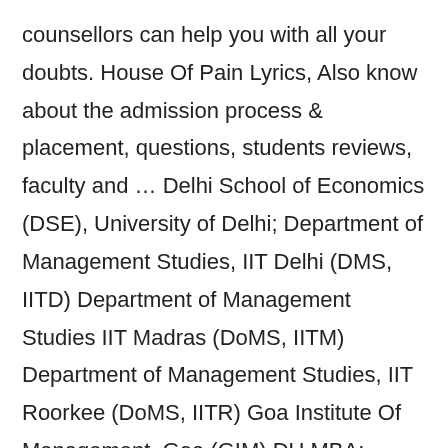counsellors can help you with all your doubts. House Of Pain Lyrics, Also know about the admission process & placement, questions, students reviews, faculty and … Delhi School of Economics (DSE), University of Delhi; Department of Management Studies, IIT Delhi (DMS, IITD) Department of Management Studies IIT Madras (DoMS, IITM) Department of Management Studies, IIT Roorkee (DoMS, IITR) Goa Institute Of Management, Goa (GIM) DU MBA: Cutoff 2020. 7.5 Lakhs. This is the only B-school among all the MBA colleges in Delhi with cut off going so high. Delhi School of Management, Delhi Technological University (DSM DTU Delhi) established in August 2009. Black-owned Restaurants In San Diego, As